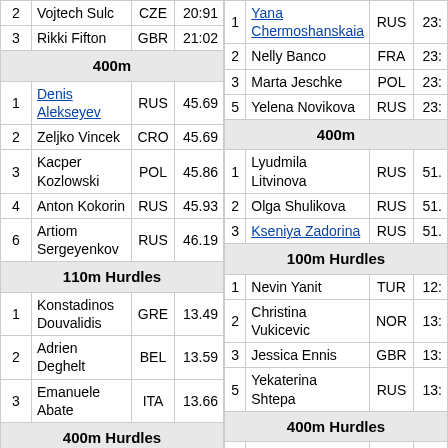| # | Name | Country | Time |
| --- | --- | --- | --- |
| 2 | Vojtech Sulc | CZE | 20:91 |
| 3 | Rikki Fifton | GBR | 21:02 |
| 400m |  |  |  |
| 1 | Denis Alekseyev | RUS | 45.69 |
| 2 | Zeljko Vincek | CRO | 45.69 |
| 3 | Kacper Kozlowski | POL | 45.86 |
| 4 | Anton Kokorin | RUS | 45.93 |
| 6 | Artiom Sergeyenkov | RUS | 46.19 |
| 110m Hurdles |  |  |  |
| 1 | Konstadinos Douvalidis | GRE | 13.49 |
| 2 | Adrien Deghelt | BEL | 13.59 |
| 3 | Emanuele Abate | ITA | 13.66 |
| 400m Hurdles |  |  |  |
| # | Name | Country | Time |
| --- | --- | --- | --- |
| 1 | Yana Chermoshanskaia | RUS | 23: |
| 2 | Nelly Banco | FRA | 23: |
| 3 | Marta Jeschke | POL | 23: |
| 5 | Yelena Novikova | RUS | 23: |
| 400m |  |  |  |
| 1 | Lyudmila Litvinova | RUS | 51. |
| 2 | Olga Shulikova | RUS | 51. |
| 3 | Kseniya Zadorina | RUS | 51. |
| 100m Hurdles |  |  |  |
| 1 | Nevin Yanit | TUR | 12: |
| 2 | Christina Vukicevic | NOR | 13: |
| 3 | Jessica Ennis | GBR | 13: |
| 5 | Yekaterina Shtepa | RUS | 13: |
| 400m Hurdles |  |  |  |
| 1 | Angela Morosanu | ROM | 54. |
| 2 | Irina Obedina | RUS | 55. |
| 3 | Zuzana Hejnova | CZE | 55. |
| 4 | Yelena | RUS | 56 |